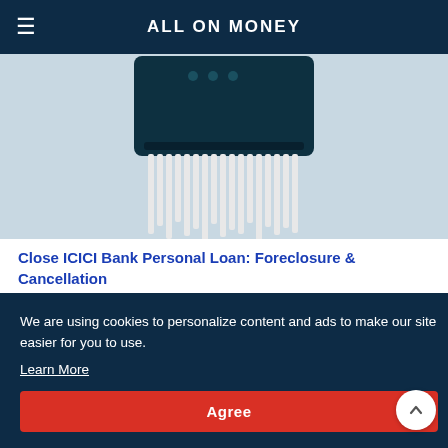ALL ON MONEY
[Figure (photo): Paper shredder device on light blue/grey background, viewed from above showing shredded paper strips coming out]
Close ICICI Bank Personal Loan: Foreclosure & Cancellation
[Figure (screenshot): Coinbase NFT Beta logo on a light background with a blue rounded badge reading 'Beta' in the top right corner]
We are using cookies to personalize content and ads to make our site easier for you to use.
Learn More
Agree